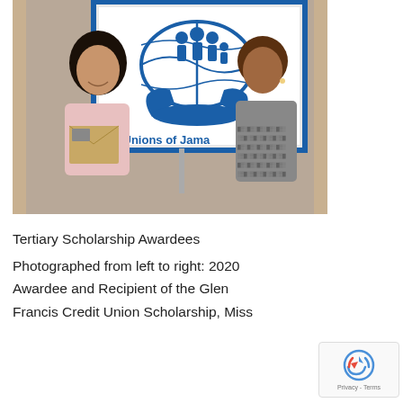[Figure (photo): Two women standing in front of a Credit Unions of Jamaica sign. The woman on the left is younger, smiling, and holding a large envelope. The woman on the right is older. The sign features a globe and cupped hands logo with the text 'Credit Unions of Jamaica'.]
Tertiary Scholarship Awardees

Photographed from left to right: 2020 Awardee and Recipient of the Glen Francis Credit Union Scholarship, Miss